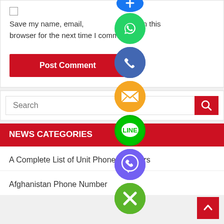Save my name, email, and website in this browser for the next time I comment.
Post Comment
Search
NEWS CATEGORIES
A Complete List of Unit Phone Numbers
Afghanistan Phone Number
[Figure (illustration): Floating social media icon buttons: WhatsApp (green), Phone/Viber (blue-purple), Email (orange), LINE (green), Viber (purple), Close (green with X), and a partial Facebook blue button at top]